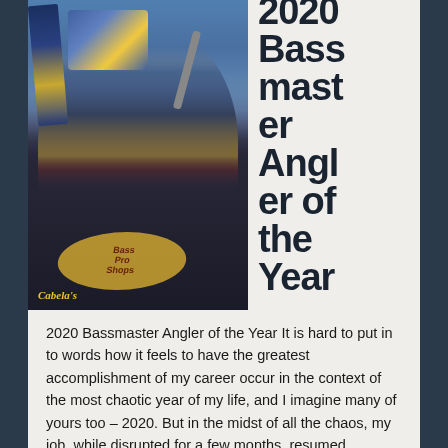[Figure (photo): A smiling man wearing a Bass Pro Shops and Cabela's branded fishing jersey, holding a trophy plaque, standing in front of a blue banner backdrop with a microphone visible.]
2020 Bassmaster Angler of the Year
2020 Bassmaster Angler of the Year It is hard to put in to words how it feels to have the greatest accomplishment of my career occur in the context of the most chaotic year of my life, and I imagine many of yours too – 2020. But in the midst of all the chaos, my job, while disrupted for a few months, resumed